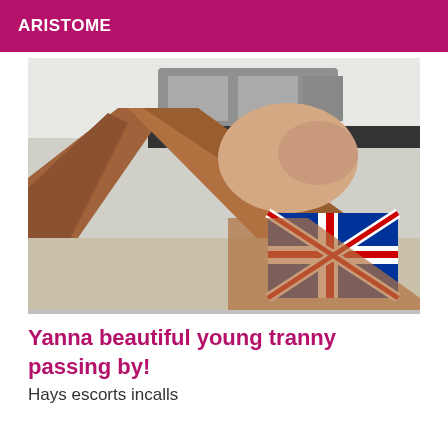ARISTOME
[Figure (photo): Blurry close-up photo showing wooden furniture/floor with a Union Jack flag visible in the background and a hand/fingers in the foreground]
Yanna beautiful young tranny passing by!
Hays escorts incalls